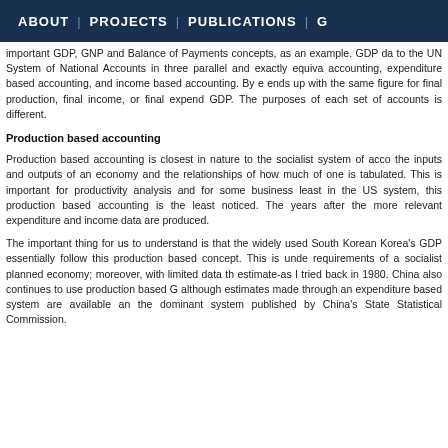ABOUT | PROJECTS | PUBLICATIONS | G
important GDP, GNP and Balance of Payments concepts, as an example. GDP da to the UN System of National Accounts in three parallel and exactly equiva accounting, expenditure based accounting, and income based accounting. By e ends up with the same figure for final production, final income, or final expend GDP. The purposes of each set of accounts is different.
Production based accounting
Production based accounting is closest in nature to the socialist system of acco the inputs and outputs of an economy and the relationships of how much of one is tabulated. This is important for productivity analysis and for some business least in the US system, this production based accounting is the least noticed. The years after the more relevant expenditure and income data are produced.
The important thing for us to understand is that the widely used South Korean Korea's GDP essentially follow this production based concept. This is unde requirements of a socialist planned economy; moreover, with limited data th estimate-as I tried back in 1980. China also continues to use production based G although estimates made through an expenditure based system are available an the dominant system published by China's State Statistical Commission.